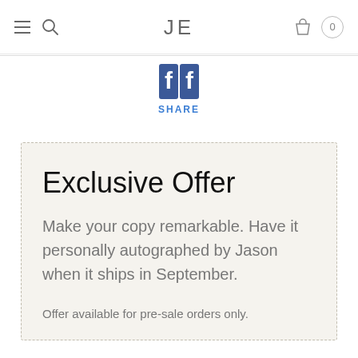JE
[Figure (logo): Facebook share button icon in blue with white 'f' logo, with 'SHARE' text below in blue]
Exclusive Offer
Make your copy remarkable. Have it personally autographed by Jason when it ships in September.
Offer available for pre-sale orders only.